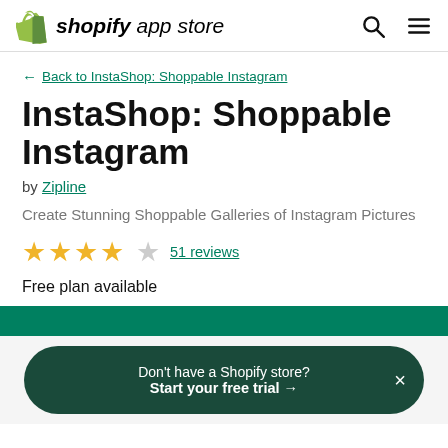shopify app store
← Back to InstaShop: Shoppable Instagram
InstaShop: Shoppable Instagram
by Zipline
Create Stunning Shoppable Galleries of Instagram Pictures
★★★★☆ 51 reviews
Free plan available
Don't have a Shopify store? Start your free trial →